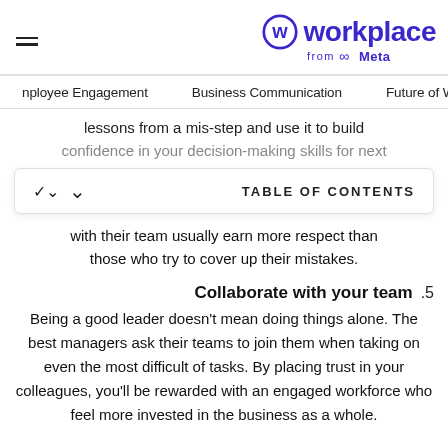workplace from Meta
Employee Engagement   Business Communication   Future of Work
lessons from a mis-step and use it to build confidence in your decision-making skills for next
TABLE OF CONTENTS
with their team usually earn more respect than those who try to cover up their mistakes.
.5  Collaborate with your team
Being a good leader doesn't mean doing things alone. The best managers ask their teams to join them when taking on even the most difficult of tasks. By placing trust in your colleagues, you'll be rewarded with an engaged workforce who feel more invested in the business as a whole.